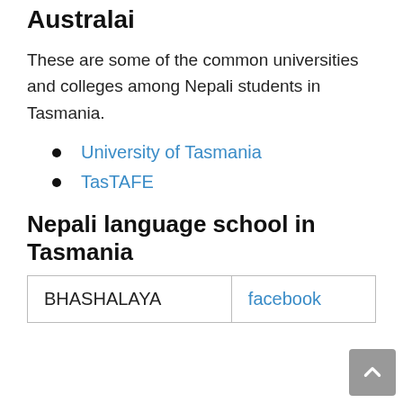Australai
These are some of the common universities and colleges among Nepali students in Tasmania.
University of Tasmania
TasTAFE
Nepali language school in Tasmania
|  |  |
| --- | --- |
| BHASHALAYA | facebook |